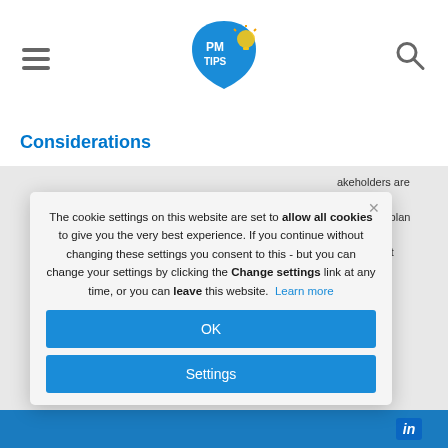PM TIPS [logo]
Considerations
[Figure (screenshot): Cookie consent modal popup with OK and Settings buttons over a PM Tips website background]
The cookie settings on this website are set to allow all cookies to give you the very best experience. If you continue without changing these settings you consent to this - but you can change your settings by clicking the Change settings link at any time, or you can leave this website. Learn more
in